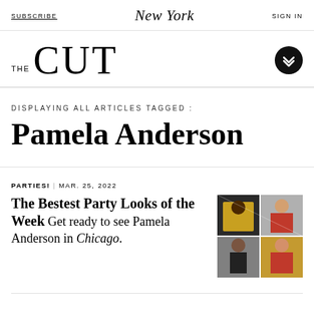SUBSCRIBE | New York | SIGN IN
THE CUT
DISPLAYING ALL ARTICLES TAGGED:
Pamela Anderson
PARTIES! | MAR. 25, 2022
The Bestest Party Looks of the Week Get ready to see Pamela Anderson in Chicago.
[Figure (photo): Collage of four celebrity party photos divided into four quadrants]